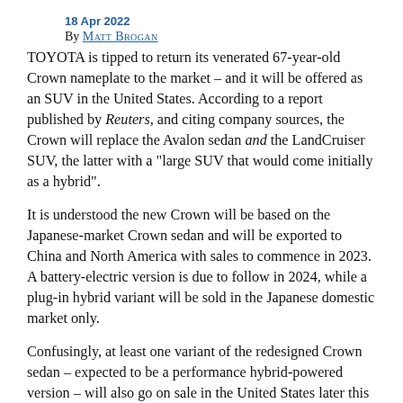18 Apr 2022
By MATT BROGAN
TOYOTA is tipped to return its venerated 67-year-old Crown nameplate to the market – and it will be offered as an SUV in the United States. According to a report published by Reuters, and citing company sources, the Crown will replace the Avalon sedan and the LandCruiser SUV, the latter with a “large SUV that would come initially as a hybrid”.
It is understood the new Crown will be based on the Japanese-market Crown sedan and will be exported to China and North America with sales to commence in 2023. A battery-electric version is due to follow in 2024, while a plug-in hybrid variant will be sold in the Japanese domestic market only.
Confusingly, at least one variant of the redesigned Crown sedan – expected to be a performance hybrid-powered version – will also go on sale in the United States later this year, where it will compete with the likes of the Audi A6, BMW 5 Series, Genesis G80,  Mercedes-Benz E-Class and similar sedans, a source told publication Automotive News.